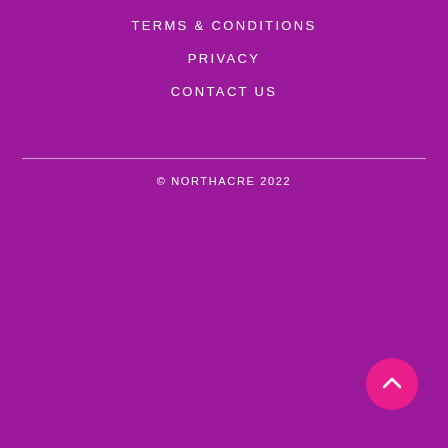TERMS & CONDITIONS
PRIVACY
CONTACT US
© NORTHACRE 2022
[Figure (illustration): Pink circular back-to-top button with upward chevron arrow]